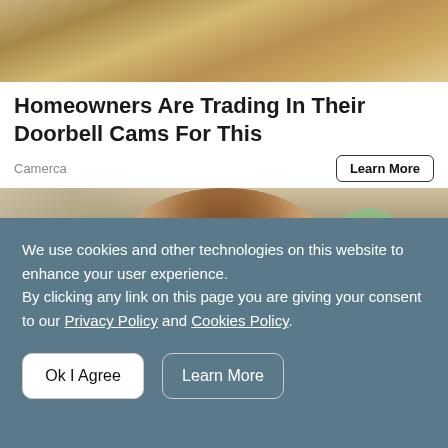[Figure (photo): Top portion of a photo showing textured stone or rock surface with beige/tan tones]
Homeowners Are Trading In Their Doorbell Cams For This
Camerca
Learn More
[Figure (photo): Photo of a smiling young woman with dark hair in a bun, standing outdoors with trees and a blue building in the background]
We use cookies and other technologies on this website to enhance your user experience.
By clicking any link on this page you are giving your consent to our Privacy Policy and Cookies Policy.
Ok I Agree
Learn More